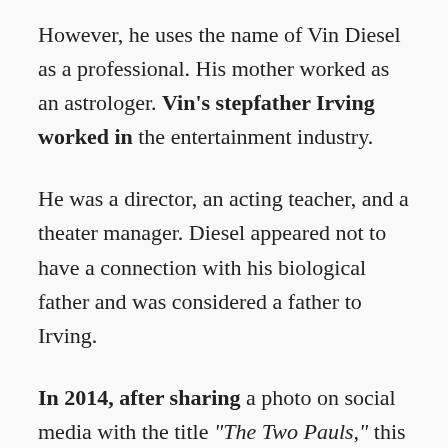However, he uses the name of Vin Diesel as a professional. His mother worked as an astrologer. Vin's stepfather Irving worked in the entertainment industry.
He was a director, an acting teacher, and a theater manager. Diesel appeared not to have a connection with his biological father and was considered a father to Irving.
In 2014, after sharing a photo on social media with the title "The Two Pauls," this image represented his twin brother Paul standing alongside his late co-star Paul Walker.